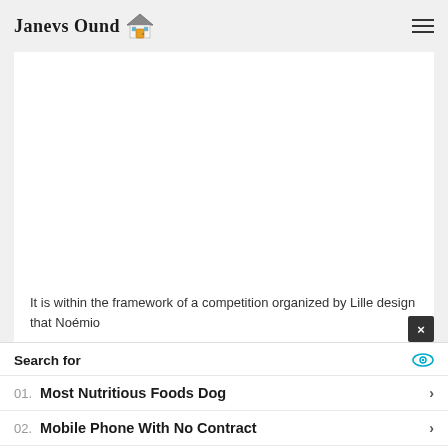Janevs Ound
[Figure (other): White content card area, blank/empty image placeholder]
It is within the framework of a competition organized by Lille design that Noémio
Search for
01. Most Nutritious Foods Dog
02. Mobile Phone With No Contract
Yahoo! Search | Sponsored